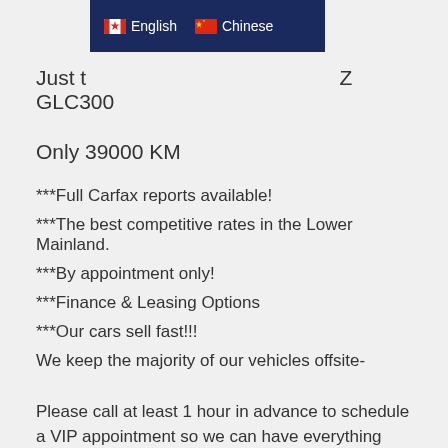English | Chinese
Just [something] Z GLC300
Only 39000 KM
***Full Carfax reports available!
***The best competitive rates in the Lower Mainland.
***By appointment only!
***Finance & Leasing Options
***Our cars sell fast!!!
We keep the majority of our vehicles offsite-
Please call at least 1 hour in advance to schedule a VIP appointment so we can have everything ready when you arrive.